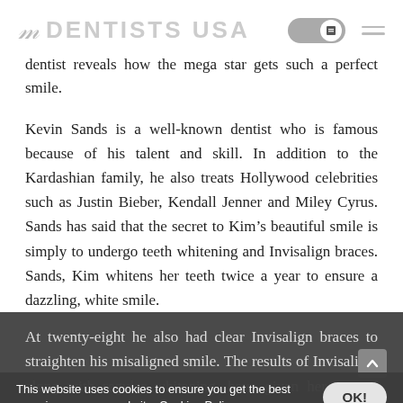DENTISTS USA
dentist reveals how the mega star gets such a perfect smile.
Kevin Sands is a well-known dentist who is famous because of his talent and skill. In addition to the Kardashian family, he also treats Hollywood celebrities such as Justin Bieber, Kendall Jenner and Miley Cyrus. Sands has said that the secret to Kim’s beautiful smile is simply to undergo teeth whitening and Invisalign braces. Sands, Kim whitens her teeth twice a year to ensure a dazzling, white smile.
At twenty-eight he also had clear Invisalign braces to straighten his misaligned smile. The results of Invisalign, along with regular whitening, have given her one of Hollywood’s best-known smiles. Located
This website uses cookies to ensure you get the best experience on our website. Cookies Policy.